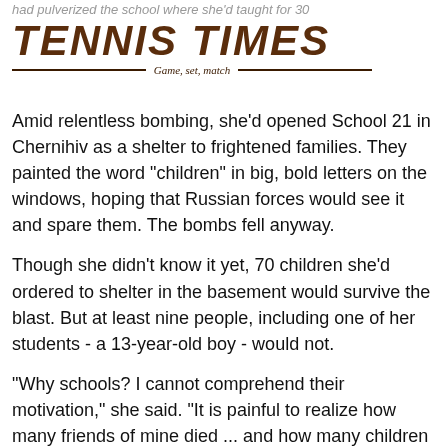had pulverized the school where she'd taught for 30
[Figure (logo): Tennis Times logo with italic bold text and tagline 'Game, set, match']
Amid relentless bombing, she'd opened School 21 in Chernihiv as a shelter to frightened families. They painted the word "children" in big, bold letters on the windows, hoping that Russian forces would see it and spare them. The bombs fell anyway.
Though she didn't know it yet, 70 children she'd ordered to shelter in the basement would survive the blast. But at least nine people, including one of her students - a 13-year-old boy - would not.
"Why schools? I cannot comprehend their motivation," she said. "It is painful to realize how many friends of mine died ... and how many children who remained alone without parents, got traumatized. They will remember it all their life and will pass their stories to the next generation."